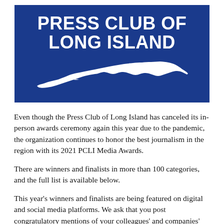[Figure (logo): Press Club of Long Island logo — blue rectangle with white bold text 'PRESS CLUB OF LONG ISLAND' and a white silhouette of Long Island beneath]
Even though the Press Club of Long Island has canceled its in-person awards ceremony again this year due to the pandemic, the organization continues to honor the best journalism in the region with its 2021 PCLI Media Awards.
There are winners and finalists in more than 100 categories, and the full list is available below.
This year's winners and finalists are being featured on digital and social media platforms. We ask that you post congratulatory mentions of your colleagues' and companies' achievements using the hashtag #PCLIAwards. Please post photos and share links and words of encouragement so we